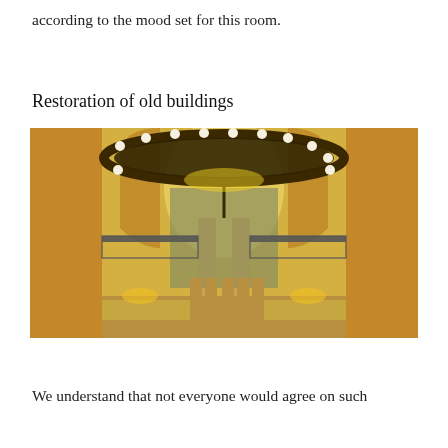according to the mood set for this room.
Restoration of old buildings
[Figure (photo): Interior of a restored historic building showing a large circular chandelier with exposed bulbs, arched doorways with yellow/warm lighting, stone columns, and decorative balconies. The photo is taken looking towards an entrance foyer from below the chandelier.]
We understand that not everyone would agree on such